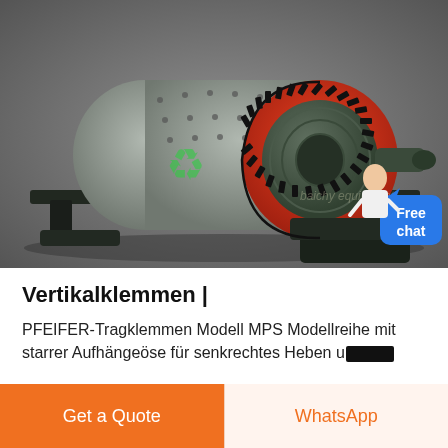[Figure (photo): Industrial ball mill machine with large red and dark teal cylindrical body mounted on a black frame, featuring a large toothed gear ring. A green recycling-style logo watermark is visible on the body. A small illustrated female assistant figure with a blue chat bubble is overlaid in the bottom right corner.]
Vertikalklemmen |
PFEIFER-Tragklemmen Modell MPS Modellreihe mit starrer Aufhängeöse für senkrechtes Heben und [redacted]
Get a Quote
WhatsApp